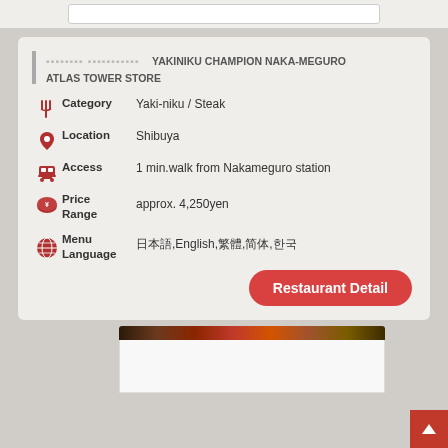YAKINIKU CHAMPION NAKA-MEGURO ATLAS TOWER STORE
Category: Yaki-niku / Steak
Location: Shibuya
Access: 1 min.walk from Nakameguro station
Price Range: approx. 4,250yen
Menu Language: 日本語,English,繁體,简体,한국
Restaurant Detail
[Figure (photo): Food photo at top of restaurant image section, showing grilled meat and garnish]